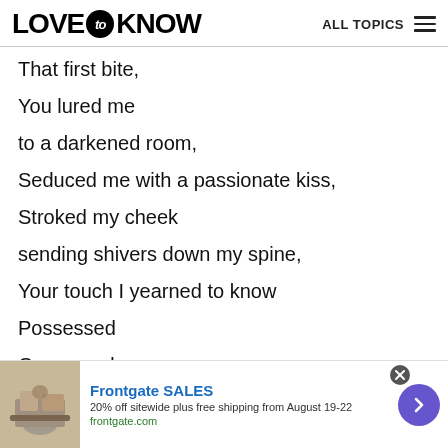LOVE to KNOW   ALL TOPICS
That first bite,
You lured me
to a darkened room,
Seduced me with a passionate kiss,
Stroked my cheek
sending shivers down my spine,
Your touch I yearned to know
Possessed
Consumed
on fire with unquenched desire
Lusty throaty whispers
[Figure (other): Advertisement banner: Frontgate SALES - 20% off sitewide plus free shipping from August 19-22, frontgate.com, with outdoor furniture image and navigation arrow]